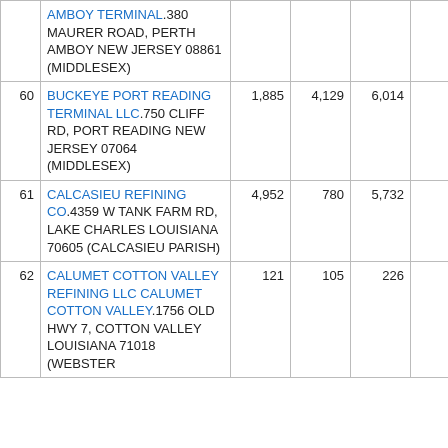| # | Facility | Col3 | Col4 | Col5 | Col6 | Col7 |
| --- | --- | --- | --- | --- | --- | --- |
|  | TERMINAL.380 MAURER ROAD, PERTH AMBOY NEW JERSEY 08861 (MIDDLESEX) |  |  |  |  |  |
| 60 | BUCKEYE PORT READING TERMINAL LLC.750 CLIFF RD, PORT READING NEW JERSEY 07064 (MIDDLESEX) | 1,885 | 4,129 | 6,014 | 0 |  |
| 61 | CALCASIEU REFINING CO.4359 W TANK FARM RD, LAKE CHARLES LOUISIANA 70605 (CALCASIEU PARISH) | 4,952 | 780 | 5,732 | 56 |  |
| 62 | CALUMET COTTON VALLEY REFINING LLC CALUMET COTTON VALLEY.1756 OLD HWY 7, COTTON VALLEY LOUISIANA 71018 (WEBSTER | 121 | 105 | 226 | 1 |  |